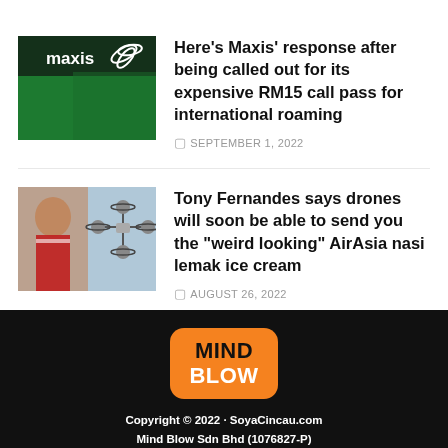[Figure (photo): Maxis store sign with green background and white Maxis logo with palm-leaf icon]
Here’s Maxis’ response after being called out for its expensive RM15 call pass for international roaming
SEPTEMBER 1, 2022
[Figure (photo): Tony Fernandes with a drone in the background]
Tony Fernandes says drones will soon be able to send you the “weird looking” AirAsia nasi lemak ice cream
AUGUST 26, 2022
[Figure (logo): Mind Blow logo: orange rounded square with MIND in black and BLOW in white text]
Copyright © 2022 · SoyaCincau.com Mind Blow Sdn Bhd (1076827-P)